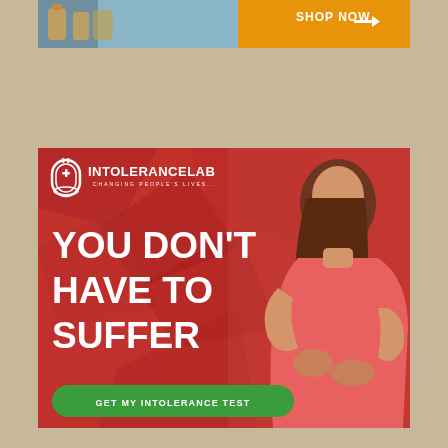[Figure (photo): Top advertisement banner: supplement bottles on left with blue background, orange 'SHOP NOW →' button on right]
[Figure (infographic): IntoleranceLab advertisement with red geometric background, woman in pink dress holding her stomach, logo top left, bold white text 'YOU DON'T HAVE TO SUFFER', green CTA button 'GET MY INTOLERANCE TEST']